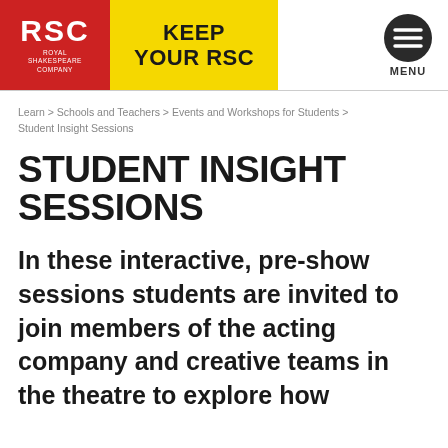[Figure (logo): RSC Royal Shakespeare Company logo in red block with white text, next to a yellow Keep Your RSC banner, and a circular hamburger menu icon on the right labeled MENU]
Learn > Schools and Teachers > Events and Workshops for Students > Student Insight Sessions
STUDENT INSIGHT SESSIONS
In these interactive, pre-show sessions students are invited to join members of the acting company and creative teams in the theatre to explore how